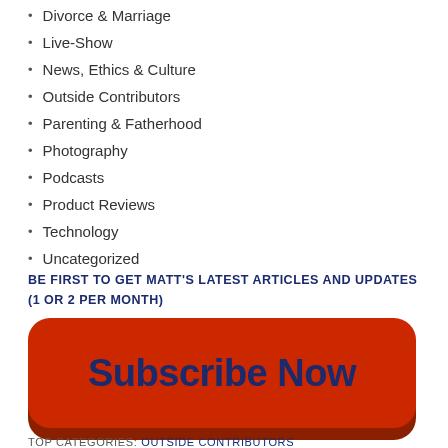Divorce & Marriage
Live-Show
News, Ethics & Culture
Outside Contributors
Parenting & Fatherhood
Photography
Podcasts
Product Reviews
Technology
Uncategorized
BE FIRST TO GET MATT'S LATEST ARTICLES AND UPDATES (1 OR 2 PER MONTH)
[Figure (other): Red rounded rectangle Subscribe Now button with dark blue text]
TOP CATEGORIES: OUTSIDE CONTRIBUTORS